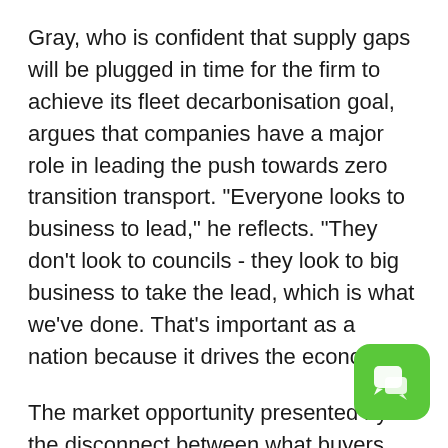Gray, who is confident that supply gaps will be plugged in time for the firm to achieve its fleet decarbonisation goal, argues that companies have a major role in leading the push towards zero transition transport. "Everyone looks to business to lead," he reflects. "They don't look to councils - they look to big business to take the lead, which is what we've done. That's important as a nation because it drives the economy."
The market opportunity presented by the disconnect between what buyers want and the currently limited product offering has been on by start-ups looking to rapidly scale up and